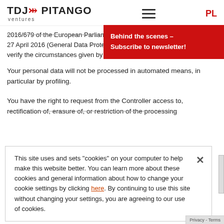[Figure (logo): TDJ Pitango Ventures logo with red chevron and hamburger menu and PL link]
2016/679 of the European Parliament and of the Council of 27 April 2016 (General Data Protection Regulation), to verify the circumstances given by
Behind the scenes – Subscribe to newsletter!
Your personal data will not be processed in automated means, in particular by profiling.
You have the right to request from the Controller access to, rectification of, erasure of, or restriction of the processing
This site uses and sets "cookies" on your computer to help make this website better. You can learn more about these cookies and general information about how to change your cookie settings by clicking here. By continuing to use this site without changing your settings, you are agreeing to our use of cookies.
investment process, performance of a possible contract and to the investment team.